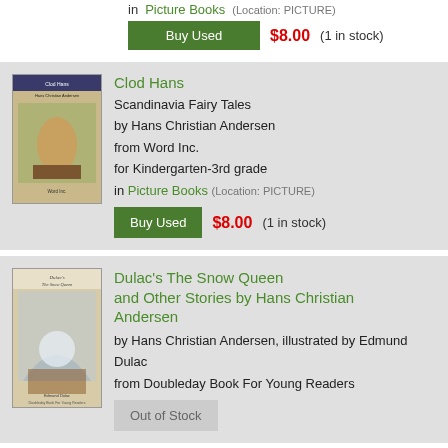in Picture Books (Location: PICTURE)
Buy Used $8.00 (1 in stock)
[Figure (photo): Book cover of Clod Hans - Scandinavia Fairy Tales]
Clod Hans
Scandinavia Fairy Tales by Hans Christian Andersen from Word Inc. for Kindergarten-3rd grade in Picture Books (Location: PICTURE)
Buy Used $8.00 (1 in stock)
[Figure (photo): Book cover of Dulac's The Snow Queen and Other Stories by Hans Christian Andersen]
Dulac's The Snow Queen and Other Stories by Hans Christian Andersen
by Hans Christian Andersen, illustrated by Edmund Dulac from Doubleday Book For Young Readers
Out of Stock